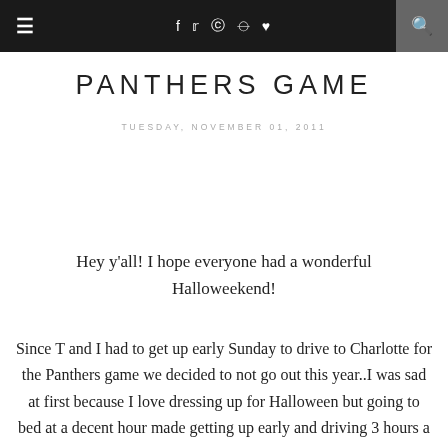≡  f  t  ☷  ⊕  ♥  🔍
PANTHERS GAME
TUESDAY, NOVEMBER 01, 2011
Hey y'all! I hope everyone had a wonderful Halloweekend!
Since T and I had to get up early Sunday to drive to Charlotte for the Panthers game we decided to not go out this year..I was sad at first because I love dressing up for Halloween but going to bed at a decent hour made getting up early and driving 3 hours a little easier. I did